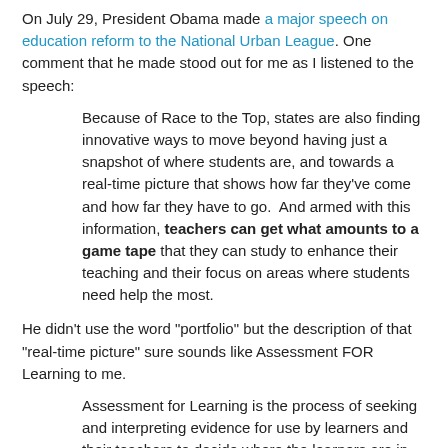On July 29, President Obama made a major speech on education reform to the National Urban League. One comment that he made stood out for me as I listened to the speech:
Because of Race to the Top, states are also finding innovative ways to move beyond having just a snapshot of where students are, and towards a real-time picture that shows how far they've come and how far they have to go.  And armed with this information, teachers can get what amounts to a game tape that they can study to enhance their teaching and their focus on areas where students need help the most.
He didn't use the word "portfolio" but the description of that "real-time picture" sure sounds like Assessment FOR Learning to me.
Assessment for Learning is the process of seeking and interpreting evidence for use by learners and their teachers to decide where the learners are in their learning, where they need to